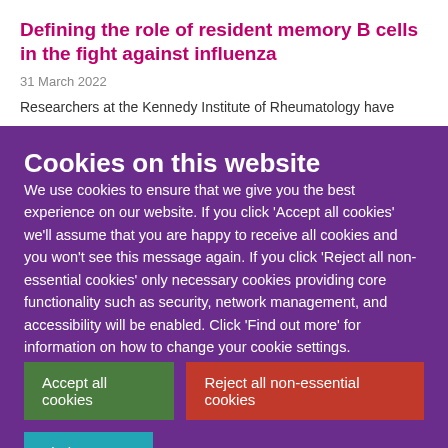Defining the role of resident memory B cells in the fight against influenza
31 March 2022
Researchers at the Kennedy Institute of Rheumatology have
Cookies on this website
We use cookies to ensure that we give you the best experience on our website. If you click 'Accept all cookies' we'll assume that you are happy to receive all cookies and you won't see this message again. If you click 'Reject all non-essential cookies' only necessary cookies providing core functionality such as security, network management, and accessibility will be enabled. Click 'Find out more' for information on how to change your cookie settings.
Accept all cookies
Reject all non-essential cookies
Find out more